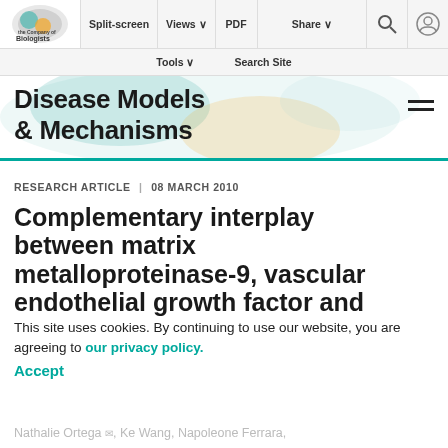Split-screen | Views | PDF | Share | Tools | Search Site
[Figure (logo): The Company of Biologists logo - circular emblem with text]
Disease Models & Mechanisms
RESEARCH ARTICLE | 08 MARCH 2010
Complementary interplay between matrix metalloproteinase-9, vascular endothelial growth factor and osteoclast function drives tumor vascularization and invasion
This site uses cookies. By continuing to use our website, you are agreeing to our privacy policy. Accept
Nathalie Ortega, Ke Wang, Napoleone Ferrara,